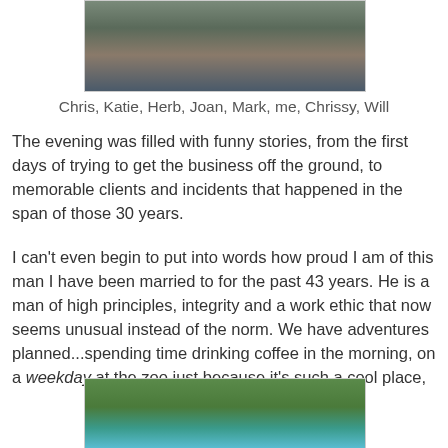[Figure (photo): Group photo of people standing together indoors]
Chris, Katie, Herb, Joan, Mark, me, Chrissy, Will
The evening was filled with funny stories, from the first days of trying to get the business off the ground, to memorable clients and incidents that happened in the span of those 30 years.
I can't even begin to put into words how proud I am of this man I have been married to for the past 43 years. He is a man of high principles, integrity and a work ethic that now seems unusual instead of the norm. We have adventures planned...spending time drinking coffee in the morning, on a weekday at the zoo just because it's such a cool place,
[Figure (photo): Outdoor photo showing trees and blue sky, likely at a zoo]